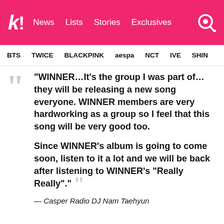k! News  Lists  Stories  Exclusives
BTS  TWICE  BLACKPINK  aespa  NCT  IVE  SHIN…
“WINNER…It’s the group I was part of…they will be releasing a new song everyone. WINNER members are very hardworking as a group so I feel that this song will be very good too.

Since WINNER’s album is going to come soon, listen to it a lot and we will be back after listening to WINNER’s “Really Really”.”
— Casper Radio DJ Nam Taehyun